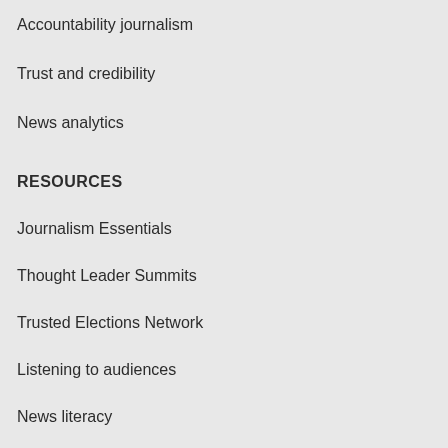Accountability journalism
Trust and credibility
News analytics
RESOURCES
Journalism Essentials
Thought Leader Summits
Trusted Elections Network
Listening to audiences
News literacy
ABOUT
About us
Who we are
Work with API